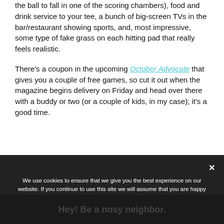the ball to fall in one of the scoring chambers), food and drink service to your tee, a bunch of big-screen TVs in the bar/restaurant showing sports, and, most impressive, some type of fake grass on each hitting pad that really feels realistic.
There's a coupon in the upcoming October Advocate that gives you a couple of free games, so cut it out when the magazine begins delivery on Friday and head over there with a buddy or two (or a couple of kids, in my case); it's a good time.
We use cookies to ensure that we give you the best experience on our website. If you continue to use this site we will assume that you are happy with it.
Hey! Be a nosy neighbor.